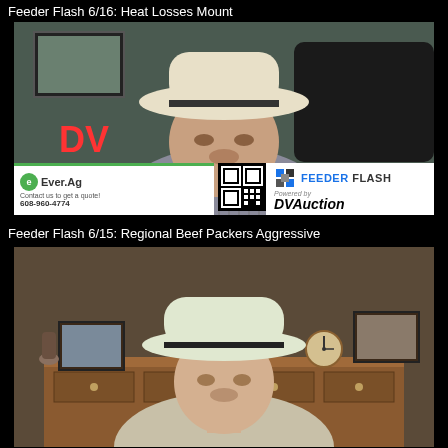Feeder Flash 6/16: Heat Losses Mount
[Figure (screenshot): Video thumbnail showing a man in a white cowboy hat speaking, with Ever.Ag and Feeder Flash/DVAuction sponsor banners at the bottom]
Feeder Flash 6/15: Regional Beef Packers Aggressive
[Figure (screenshot): Video thumbnail showing a man in a white cowboy hat seated in front of a wooden dresser with family photos and decorations]